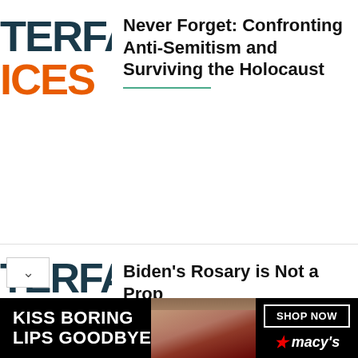[Figure (logo): Partial TERFA / ICES logo in dark teal and orange for article 1]
Never Forget: Confronting Anti-Semitism and Surviving the Holocaust
[Figure (logo): Partial TERFA / ICES logo in dark teal and orange for article 2]
Biden’s Rosary is Not a Prop
[Figure (logo): Partial TERFA / ICES logo in dark teal and orange for article 3]
From their House to the House of Representatives: Working to Fix a Broken System
[Figure (photo): Advertisement banner: Kiss Boring Lips Goodbye - Macy's Shop Now]